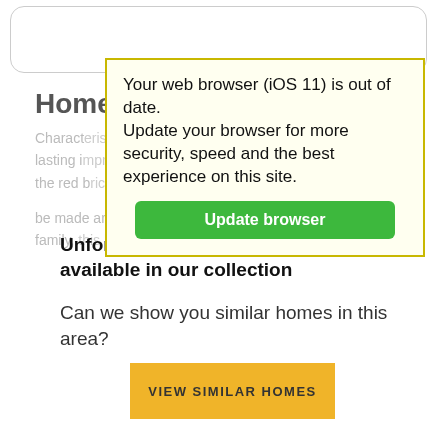[Figure (screenshot): Background webpage showing a property listing page with 'Home C...' heading and greyed-out description text about property characteristics.]
Your web browser (iOS 11) is out of date.
Update your browser for more security, speed and the best experience on this site.
Update browser
Unfortunately this home is no longer available in our collection
Can we show you similar homes in this area?
VIEW SIMILAR HOMES